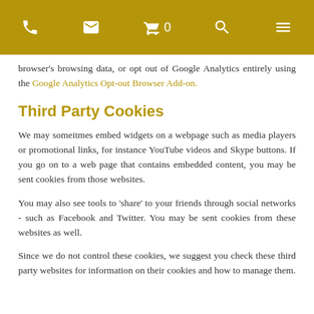Navigation bar with phone, email, cart (0), search, and menu icons
browser's browsing data, or opt out of Google Analytics entirely using the Google Analytics Opt-out Browser Add-on.
Third Party Cookies
We may someitmes embed widgets on a webpage such as media players or promotional links, for instance YouTube videos and Skype buttons. If you go on to a web page that contains embedded content, you may be sent cookies from those websites.
You may also see tools to 'share' to your friends through social networks - such as Facebook and Twitter. You may be sent cookies from these websites as well.
Since we do not control these cookies, we suggest you check these third party websites for information on their cookies and how to manage them.